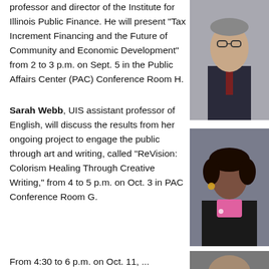professor and director of the Institute for Illinois Public Finance. He will present "Tax Increment Financing and the Future of Community and Economic Development" from 2 to 3 p.m. on Sept. 5 in the Public Affairs Center (PAC) Conference Room H.
[Figure (photo): Headshot of a man in a suit, partially visible on right side]
Sarah Webb, UIS assistant professor of English, will discuss the results from her ongoing project to engage the public through art and writing, called “ReVision: Colorism Healing Through Creative Writing,” from 4 to 5 p.m. on Oct. 3 in PAC Conference Room G.
[Figure (photo): Headshot of Sarah Webb, partially visible on right side]
From 4:30 to 6 p.m. on Oct. 11, ...
[Figure (photo): Partial headshot at bottom right, partially visible]